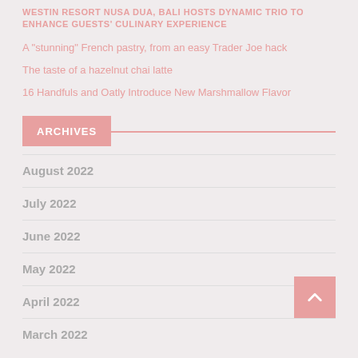WESTIN RESORT NUSA DUA, BALI HOSTS DYNAMIC TRIO TO ENHANCE GUESTS' CULINARY EXPERIENCE
A "stunning" French pastry, from an easy Trader Joe hack
The taste of a hazelnut chai latte
16 Handfuls and Oatly Introduce New Marshmallow Flavor
ARCHIVES
August 2022
July 2022
June 2022
May 2022
April 2022
March 2022